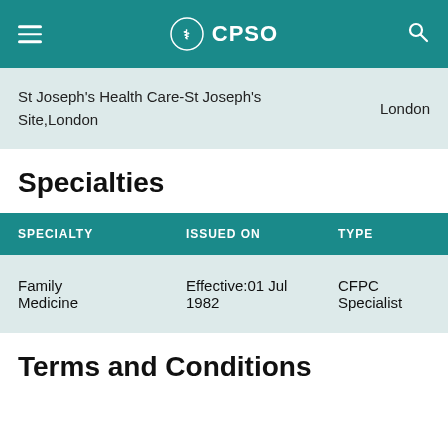CPSO
St Joseph's Health Care-St Joseph's Site,London
London
Specialties
| SPECIALTY | ISSUED ON | TYPE |
| --- | --- | --- |
| Family Medicine | Effective:01 Jul 1982 | CFPC Specialist |
Terms and Conditions